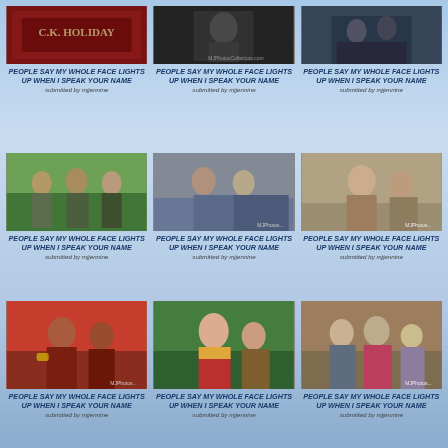[Figure (photo): Vintage photo showing a red sign reading C.K. HOLIDAY]
PEOPLE SAY MY WHOLE FACE LIGHTS UP WHEN I SPEAK YOUR NAME
submitted by mjjennine
[Figure (photo): Dark photo of a person]
PEOPLE SAY MY WHOLE FACE LIGHTS UP WHEN I SPEAK YOUR NAME
submitted by mjjennine
[Figure (photo): People standing, outdoor scene]
PEOPLE SAY MY WHOLE FACE LIGHTS UP WHEN I SPEAK YOUR NAME
submitted by mjjennine
[Figure (photo): Outdoor group scene with people in uniform]
PEOPLE SAY MY WHOLE FACE LIGHTS UP WHEN I SPEAK YOUR NAME
submitted by mjjennine
[Figure (photo): Group of people outdoors, stone wall background]
PEOPLE SAY MY WHOLE FACE LIGHTS UP WHEN I SPEAK YOUR NAME
submitted by mjjennine
[Figure (photo): People seated on stairs]
PEOPLE SAY MY WHOLE FACE LIGHTS UP WHEN I SPEAK YOUR NAME
submitted by mjjennine
[Figure (photo): Person in red shirt with sunglasses]
PEOPLE SAY MY WHOLE FACE LIGHTS UP WHEN I SPEAK YOUR NAME
submitted by mjjennine
[Figure (photo): Person in red outfit with yellow jacket outdoors]
PEOPLE SAY MY WHOLE FACE LIGHTS UP WHEN I SPEAK YOUR NAME
submitted by mjjennine
[Figure (photo): Crowd scene outdoors]
PEOPLE SAY MY WHOLE FACE LIGHTS UP WHEN I SPEAK YOUR NAME
submitted by mjjennine